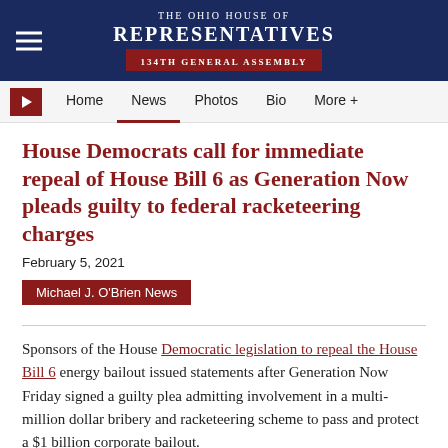THE OHIO HOUSE OF REPRESENTATIVES 134TH GENERAL ASSEMBLY
Home | News | Photos | Bio | More +
House Democrats call for immediate repeal of House Bill 6 as Generation Now pleads guilty to federal racketeering charges
February 5, 2021
Michael J. O'Brien News
Sponsors of the House Democratic legislation to repeal the House Bill 6 energy bailout issued statements after Generation Now Friday signed a guilty plea admitting involvement in a multi-million dollar bribery and racketeering scheme to pass and protect a $1 billion corporate bailout.